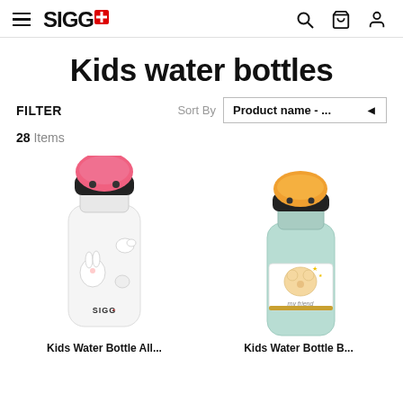SIGG - Kids water bottles
Kids water bottles
FILTER   Sort By   Product name - ...
28 Items
[Figure (photo): Two SIGG kids water bottles side by side. Left: white aluminum bottle with pink dome cap and animal/bunny/bird design. Right: mint green aluminum bottle with orange dome cap and teddy bear 'my friend' design.]
Kids Water Bottle All...   Kids Water Bottle B...